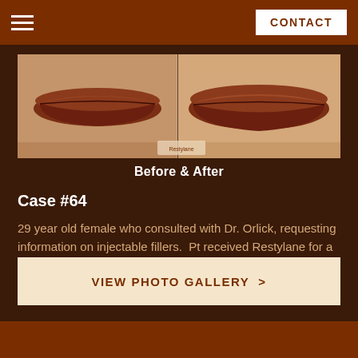CONTACT
[Figure (photo): Before and after comparison photo of lips showing results of Restylane lip filler treatment]
Before & After
Case #64
29 year old female who consulted with Dr. Orlick, requesting information on injectable fillers. Pt received Restylane for a natural and smooth look.
VIEW PHOTO GALLERY >